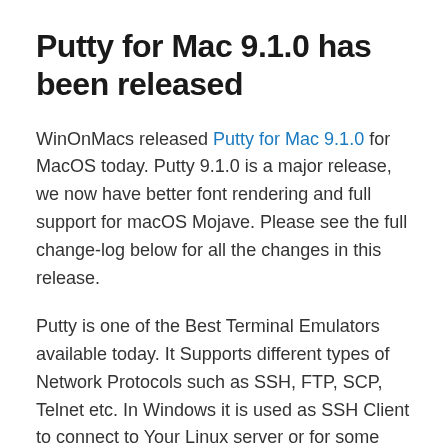Putty for Mac 9.1.0 has been released
WinOnMacs released Putty for Mac 9.1.0 for MacOS today. Putty 9.1.0 is a major release,  we now have better font rendering and full support for macOS Mojave. Please see the full change-log below for all the changes in this release.
Putty is one of the Best Terminal Emulators available today. It Supports different types of Network Protocols such as SSH, FTP, SCP, Telnet etc. In Windows it is used as SSH Client to connect to Your Linux server or for some other purpose But what will you do if you are on Mac? You might be thinking , Is there any Software like Putty for Mac Available? The answer is Yes! With the help of some other